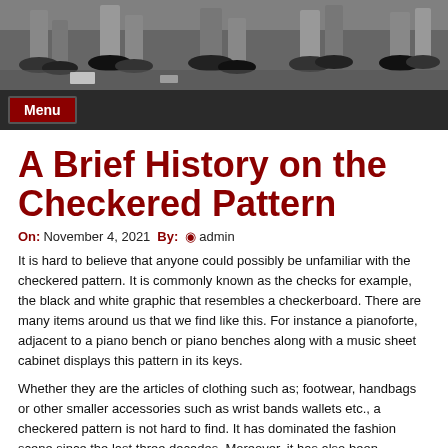[Figure (photo): Black and white photo showing feet/legs of people walking on a street or pavement, viewed from above.]
Menu
A Brief History on the Checkered Pattern
On: November 4, 2021 By: admin
It is hard to believe that anyone could possibly be unfamiliar with the checkered pattern. It is commonly known as the checks for example, the black and white graphic that resembles a checkerboard. There are many items around us that we find like this. For instance a pianoforte, adjacent to a piano bench or piano benches along with a music sheet cabinet displays this pattern in its keys.
Whether they are the articles of clothing such as; footwear, handbags or other smaller accessories such as wrist bands wallets etc., a checkered pattern is not hard to find. It has dominated the fashion scene since the last three decades. Moreover, it has also been popularly adopted by different kinds of music. Besides, you will find an everlasting presence of